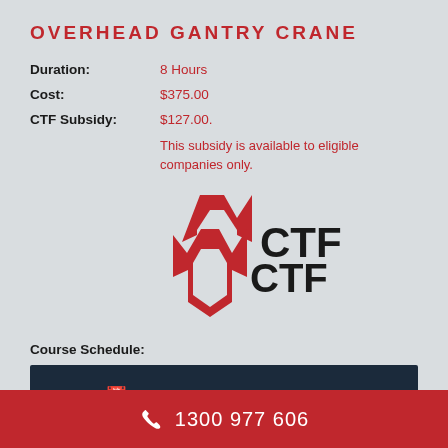OVERHEAD GANTRY CRANE
Duration: 8 Hours
Cost: $375.00
CTF Subsidy: $127.00.
This subsidy is available to eligible companies only.
[Figure (logo): CTF logo — a red star/arrow shape with the text CTF in bold black]
Course Schedule:
COURSE SCHEDULE
1300 977 606